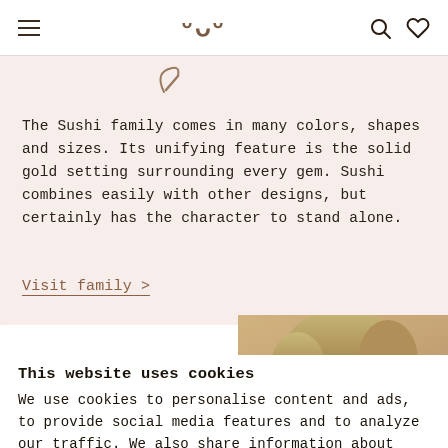Navigation bar with hamburger menu, logo (www), search and heart icons
[Figure (illustration): Decorative curl/checkmark icon in taupe/brown color]
The Sushi family comes in many colors, shapes and sizes. Its unifying feature is the solid gold setting surrounding every gem. Sushi combines easily with other designs, but certainly has the character to stand alone.
Visit family >
[Figure (photo): Partial photo of a woman with blonde hair against a warm golden background, cropped on the right side of the page]
This website uses cookies
We use cookies to personalise content and ads, to provide social media features and to analyze our traffic. We also share information about your use of our site with our social media, advertising and analytics partners who may combine it with other information that you have provided